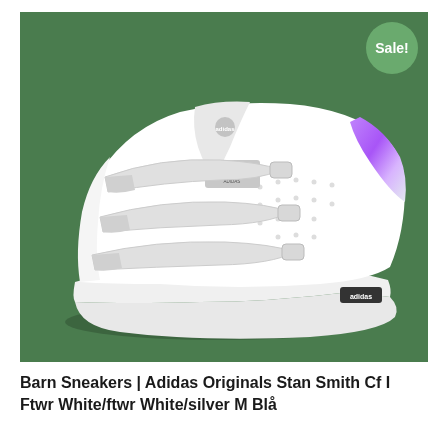[Figure (photo): White Adidas Originals Stan Smith CF I sneaker with three velcro straps and a purple/silver iridescent heel tab, photographed on a green background. A green circular 'Sale!' badge is in the top right corner.]
Barn Sneakers | Adidas Originals Stan Smith Cf I Ftwr White/ftwr White/silver M Blå